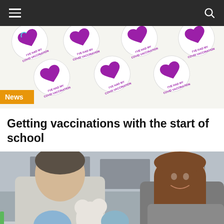Navigation bar with hamburger menu and search icon
[Figure (photo): A white background covered with repeating 'I've Had My COVID Vaccination' heart-shaped stickers in purple and blue, with an orange 'News' badge overlay at bottom left.]
Getting vaccinations with the start of school
[Figure (photo): Two young people giving thumbs up after receiving vaccinations; one wears blue latex gloves and holds a Mickey Mouse stuffed toy, the other is a smiling girl with long brown hair wearing a gray hoodie.]